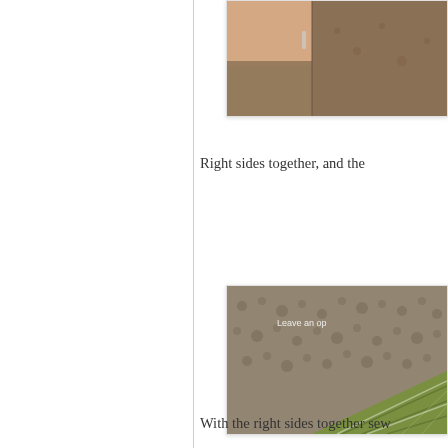[Figure (photo): Close-up photo of fabric pinned together, partially visible at top right corner of page]
Right sides together, and the
[Figure (photo): Close-up photo of textured grey/brown fleece fabric with green plaid fabric visible at bottom corner. Text overlay reads 'Leave an op']
With the right sides together sew